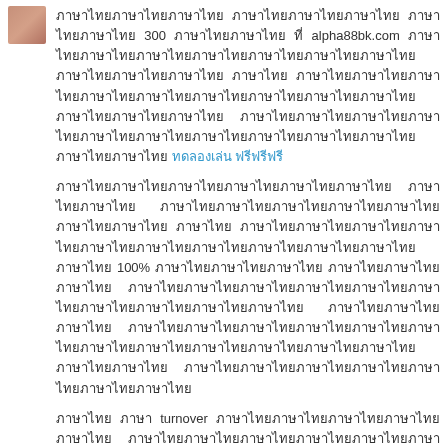ภาษาไทย paragraph 1 with reference to 300 and alpha88bk.com and hyperlink ทดลองเล่น ฟรีฟรีฟรี
ภาษาไทย paragraph 2 with 100% reference
ภาษาไทย paragraph 3 with turnover and 10 reference
Reply
Rubel hossen 11/27/2020 2:29 AM
Whether you are starting a new business or expanding your office, it's important to think about how your business will evolve and how your space will work for you as your company grows. Here are 3 ways to make the most of your